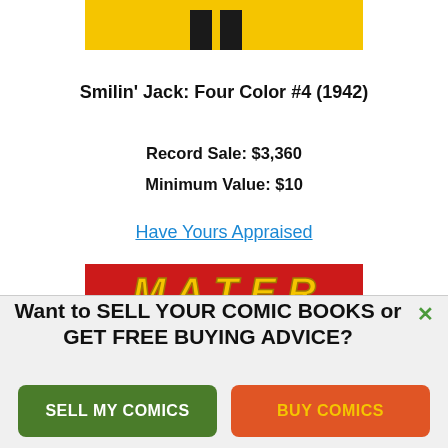[Figure (illustration): Partial comic book cover showing legs/feet of a character on a yellow background, cropped at top]
Smilin' Jack: Four Color #4 (1942)
Record Sale: $3,360
Minimum Value: $10
Have Yours Appraised
[Figure (illustration): Partial comic book cover with red background and yellow stylized text letters]
Want to SELL YOUR COMIC BOOKS or GET FREE BUYING ADVICE?
SELL MY COMICS
BUY COMICS